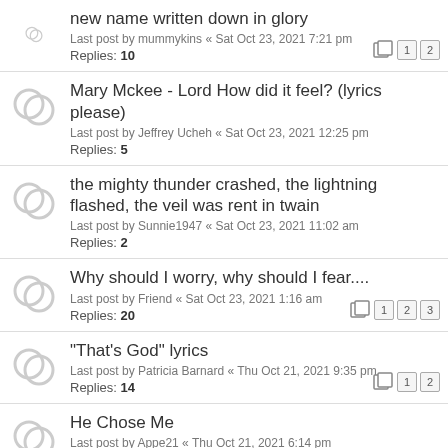new name written down in glory
Last post by mummykins « Sat Oct 23, 2021 7:21 pm
Replies: 10
Mary Mckee - Lord How did it feel? (lyrics please)
Last post by Jeffrey Ucheh « Sat Oct 23, 2021 12:25 pm
Replies: 5
the mighty thunder crashed, the lightning flashed, the veil was rent in twain
Last post by Sunnie1947 « Sat Oct 23, 2021 11:02 am
Replies: 2
Why should I worry, why should I fear....
Last post by Friend « Sat Oct 23, 2021 1:16 am
Replies: 20
"That's God" lyrics
Last post by Patricia Barnard « Thu Oct 21, 2021 9:35 pm
Replies: 14
He Chose Me
Last post by Appe21 « Thu Oct 21, 2021 6:14 pm
Replies: 5
Get Up - Mike Purkey
Last post by Tubby@gmail.com « Thu Oct 21, 2021 1:38 pm